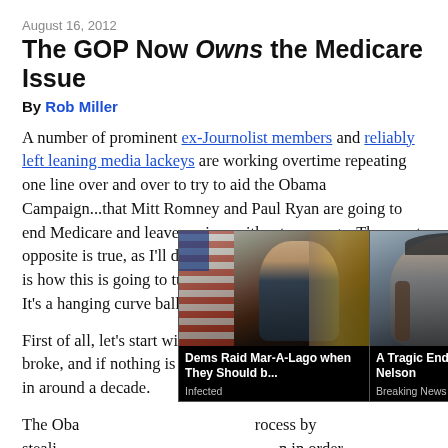August 16, 2012
The GOP Now Owns the Medicare Issue
By Rob Miller
A number of prominent ex-Journolist members and reliably left leaning media lackeys are working overtime repeating one line over and over to try to aid the Obama Campaign...that Mitt Romney and Paul Ryan are going to end Medicare and leave seniors without coverage. The exact opposite is true, as I'll demonstrate, but even more important is how this is going to turn over on the Obama Campaign. It's a hanging curve ball just waiting to be hit out of the park.
First of all, let's start with a simple truth. Medicare is going broke, and if nothing is done, the program will be bankrupt in around a decade.
The Oba... process by steali... in order to ... nd
[Figure (screenshot): Ad overlay showing two sponsored content thumbnails: 'Dems Raid Mar-A-Lago when They Should b...' from Infected, and 'A Tragic End Today For Willie Nelson' from Breaking News, with a close (x) button.]